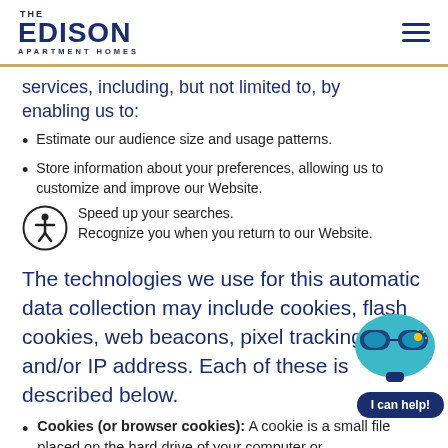THE EDISON APARTMENT HOMES
services, including, but not limited to, by enabling us to:
Estimate our audience size and usage patterns.
Store information about your preferences, allowing us to customize and improve our Website.
Speed up your searches.
Recognize you when you return to our Website.
The technologies we use for this automatic data collection may include cookies, flash cookies, web beacons, pixel tracking and/or IP address. Each of these is described below.
Cookies (or browser cookies): A cookie is a small file placed on the hard drive of your computer or